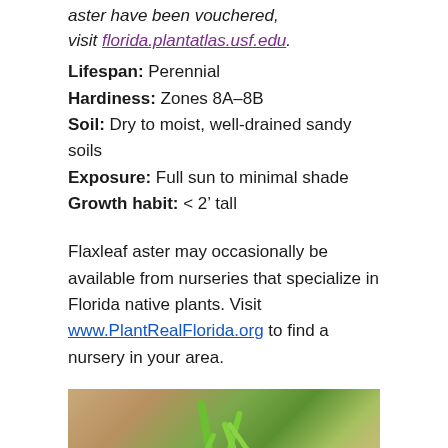aster have been vouchered, visit florida.plantatlas.usf.edu.
Lifespan: Perennial
Hardiness: Zones 8A–8B
Soil: Dry to moist, well-drained sandy soils
Exposure: Full sun to minimal shade
Growth habit: < 2' tall
Flaxleaf aster may occasionally be available from nurseries that specialize in Florida native plants. Visit www.PlantRealFlorida.org to find a nursery in your area.
[Figure (photo): Close-up photograph of flaxleaf aster plant stems with narrow green needle-like leaves]